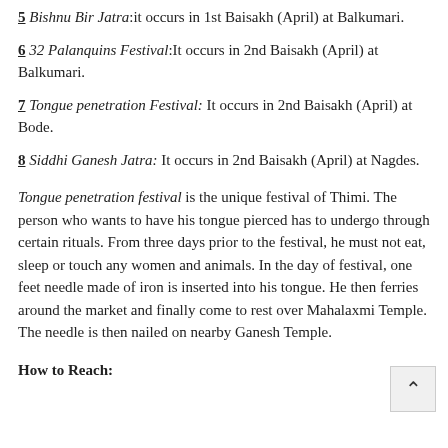5 Bishnu Bir Jatra: it occurs in 1st Baisakh (April) at Balkumari.
6 32 Palanquins Festival: It occurs in 2nd Baisakh (April) at Balkumari.
7 Tongue penetration Festival: It occurs in 2nd Baisakh (April) at Bode.
8 Siddhi Ganesh Jatra: It occurs in 2nd Baisakh (April) at Nagdes.
Tongue penetration festival is the unique festival of Thimi. The person who wants to have his tongue pierced has to undergo through certain rituals. From three days prior to the festival, he must not eat, sleep or touch any women and animals. In the day of festival, one feet needle made of iron is inserted into his tongue. He then ferries around the market and finally come to rest over Mahalaxmi Temple. The needle is then nailed on nearby Ganesh Temple.
How to Reach: